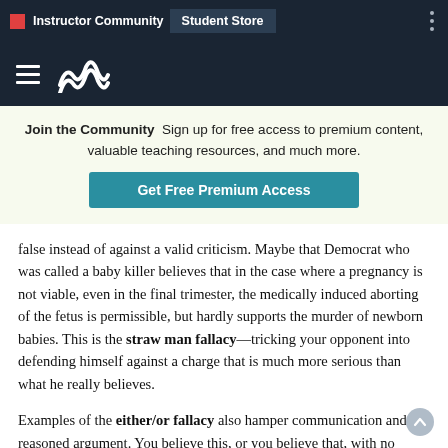Instructor Community | Student Store
Join the Community Sign up for free access to premium content, valuable teaching resources, and much more. Get Free Premium Access
false instead of against a valid criticism. Maybe that Democrat who was called a baby killer believes that in the case where a pregnancy is not viable, even in the final trimester, the medically induced aborting of the fetus is permissible, but hardly supports the murder of newborn babies. This is the straw man fallacy—tricking your opponent into defending himself against a charge that is much more serious than what he really believes.
Examples of the either/or fallacy also hamper communication and reasoned argument. You believe this, or you believe that, with no options in between. One